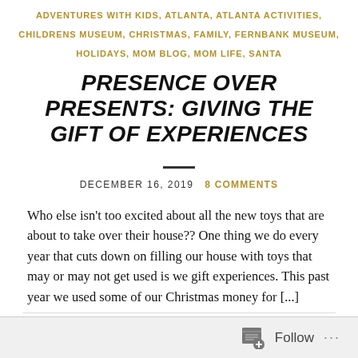ADVENTURES WITH KIDS, ATLANTA, ATLANTA ACTIVITIES, CHILDRENS MUSEUM, CHRISTMAS, FAMILY, FERNBANK MUSEUM, HOLIDAYS, MOM BLOG, MOM LIFE, SANTA
PRESENCE OVER PRESENTS: GIVING THE GIFT OF EXPERIENCES
DECEMBER 16, 2019   8 COMMENTS
Who else isn't too excited about all the new toys that are about to take over their house?? One thing we do every year that cuts down on filling our house with toys that may or may not get used is we gift experiences. This past year we used some of our Christmas money for [...]